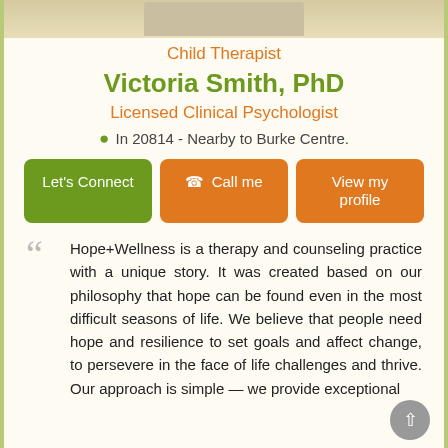[Figure (photo): Profile photo of Victoria Smith, PhD - partially visible at top of page]
Child Therapist
Victoria Smith, PhD
Licensed Clinical Psychologist
In 20814 - Nearby to Burke Centre.
Let's Connect | Call me | View my profile
Hope+Wellness is a therapy and counseling practice with a unique story. It was created based on our philosophy that hope can be found even in the most difficult seasons of life. We believe that people need hope and resilience to set goals and affect change, to persevere in the face of life challenges and thrive. Our approach is simple — we provide exceptional